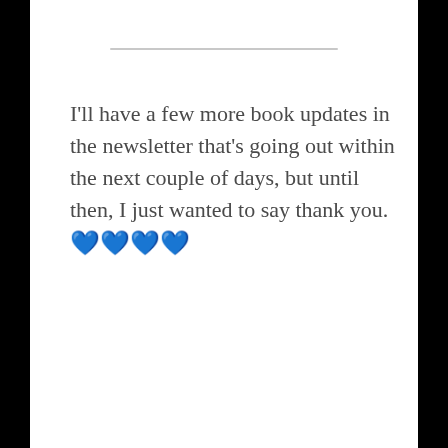I'll have a few more book updates in the newsletter that's going out within the next couple of days, but until then, I just wanted to say thank you. 💙💙💙💙